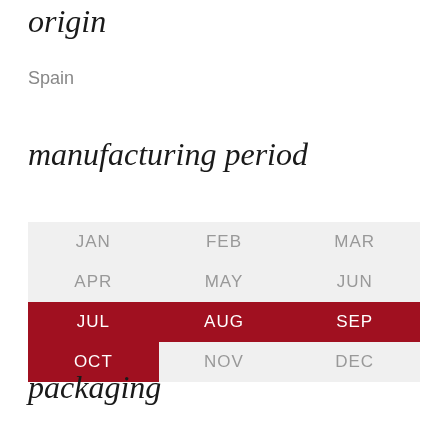origin
Spain
manufacturing period
| JAN | FEB | MAR |
| APR | MAY | JUN |
| JUL | AUG | SEP |
| OCT | NOV | DEC |
packaging